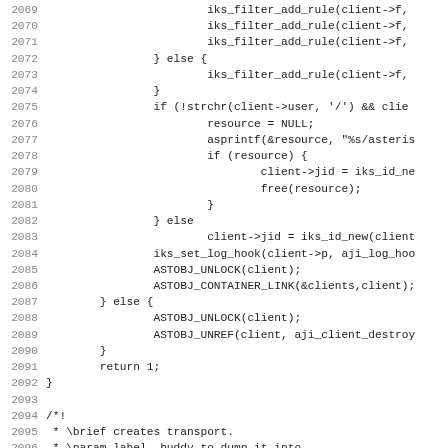Source code listing, lines 2069-2101, C programming language showing XMPP client filter rules, resource handling, jid assignment, transport creation.